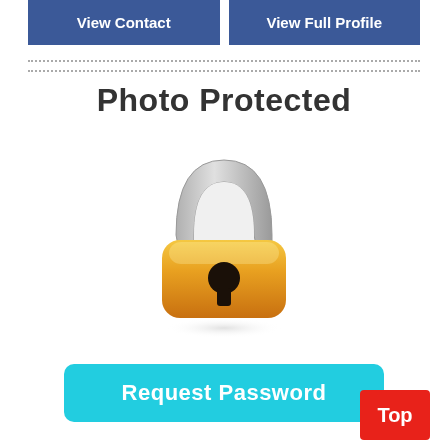View Contact
View Full Profile
[Figure (illustration): Photo Protected screen with a padlock icon and a cyan 'Request Password' button. Two dotted horizontal lines appear above. A red 'Top' button appears at the bottom right.]